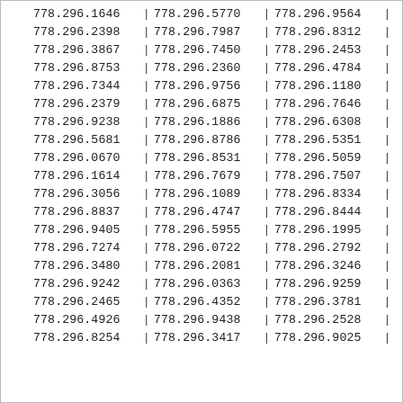| 778.296.1646 | | | 778.296.5770 | | | 778.296.9564 | | |
| 778.296.2398 | | | 778.296.7987 | | | 778.296.8312 | | |
| 778.296.3867 | | | 778.296.7450 | | | 778.296.2453 | | |
| 778.296.8753 | | | 778.296.2360 | | | 778.296.4784 | | |
| 778.296.7344 | | | 778.296.9756 | | | 778.296.1180 | | |
| 778.296.2379 | | | 778.296.6875 | | | 778.296.7646 | | |
| 778.296.9238 | | | 778.296.1886 | | | 778.296.6308 | | |
| 778.296.5681 | | | 778.296.8786 | | | 778.296.5351 | | |
| 778.296.0670 | | | 778.296.8531 | | | 778.296.5059 | | |
| 778.296.1614 | | | 778.296.7679 | | | 778.296.7507 | | |
| 778.296.3056 | | | 778.296.1089 | | | 778.296.8334 | | |
| 778.296.8837 | | | 778.296.4747 | | | 778.296.8444 | | |
| 778.296.9405 | | | 778.296.5955 | | | 778.296.1995 | | |
| 778.296.7274 | | | 778.296.0722 | | | 778.296.2792 | | |
| 778.296.3480 | | | 778.296.2081 | | | 778.296.3246 | | |
| 778.296.9242 | | | 778.296.0363 | | | 778.296.9259 | | |
| 778.296.2465 | | | 778.296.4352 | | | 778.296.3781 | | |
| 778.296.4926 | | | 778.296.9438 | | | 778.296.2528 | | |
| 778.296.8254 | | | 778.296.3417 | | | 778.296.9025 | | |